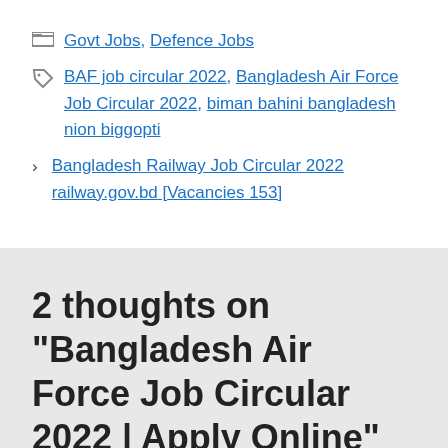Govt Jobs, Defence Jobs
BAF job circular 2022, Bangladesh Air Force Job Circular 2022, biman bahini bangladesh nion biggopti
> Bangladesh Railway Job Circular 2022 railway.gov.bd [Vacancies 153]
2 thoughts on "Bangladesh Air Force Job Circular 2022 | Apply Online"